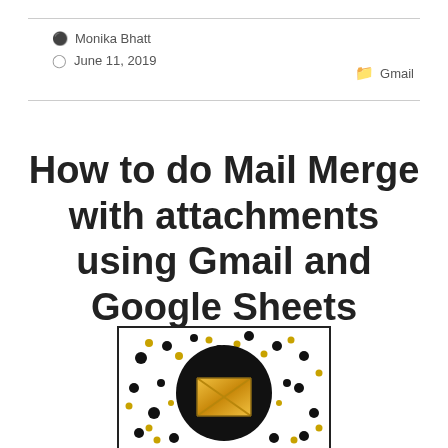Monika Bhatt
June 11, 2019
Gmail
How to do Mail Merge with attachments using Gmail and Google Sheets
[Figure (illustration): Mail merge illustration with black circle containing a gold envelope icon, surrounded by black and gold dots on white background with black border]